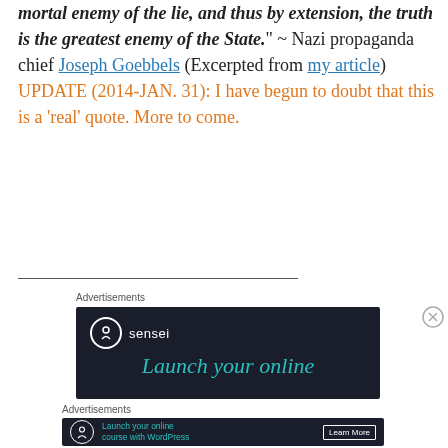mortal enemy of the lie, and thus by extension, the truth is the greatest enemy of the State." ~ Nazi propaganda chief Joseph Goebbels (Excerpted from my article) UPDATE (2014-JAN. 31): I have begun to doubt that this is a ‘real’ quote. More to come.
[Figure (screenshot): Sensei advertisement banner showing 'Launch your online' text in teal on dark background with Sensei logo]
[Figure (screenshot): Bottom Sensei advertisement banner showing 'Launch your online course with WordPress' with Learn More button]